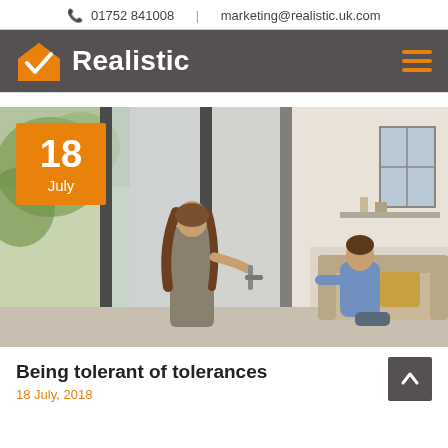01752 841008  |  marketing@realistic.uk.com
[Figure (logo): Realistic company logo with orange house/checkmark icon and white text on dark grey background]
[Figure (photo): A woman opening a set of large aluminium bifold/patio doors from outside, while a man sits on a sofa inside a light modern living room. Date badge showing '18 July' in orange overlaid on top-left.]
Being tolerant of tolerances
18 July, 2018